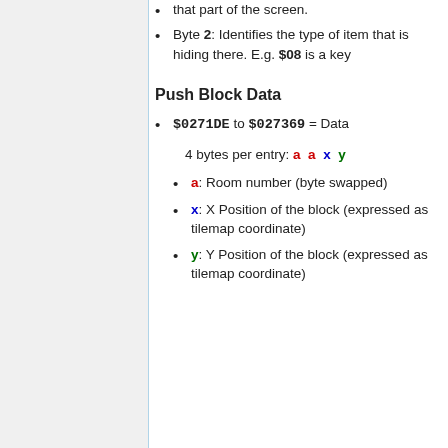that part of the screen.
Byte 2: Identifies the type of item that is hiding there. E.g. $08 is a key
Push Block Data
$0271DE to $027369 = Data
4 bytes per entry: a a x y
a: Room number (byte swapped)
x: X Position of the block (expressed as tilemap coordinate)
y: Y Position of the block (expressed as tilemap coordinate)